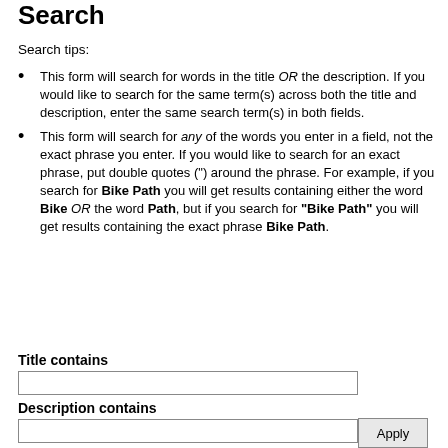Search
Search tips:
This form will search for words in the title OR the description. If you would like to search for the same term(s) across both the title and description, enter the same search term(s) in both fields.
This form will search for any of the words you enter in a field, not the exact phrase you enter. If you would like to search for an exact phrase, put double quotes (") around the phrase. For example, if you search for Bike Path you will get results containing either the word Bike OR the word Path, but if you search for "Bike Path" you will get results containing the exact phrase Bike Path.
Title contains
Description contains